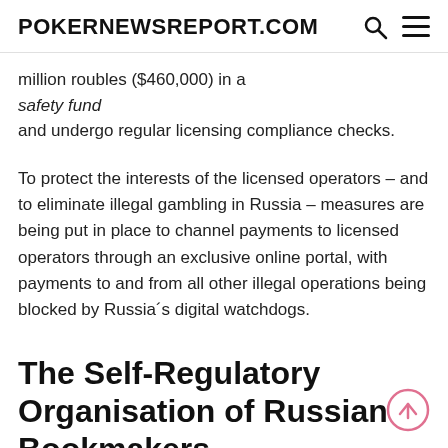POKERNEWSREPORT.COM
million roubles ($460,000) in a safety fund and undergo regular licensing compliance checks.
To protect the interests of the licensed operators – and to eliminate illegal gambling in Russia – measures are being put in place to channel payments to licensed operators through an exclusive online portal, with payments to and from all other illegal operations being blocked by Russia´s digital watchdogs.
The Self-Regulatory Organisation of Russian Bookmakers